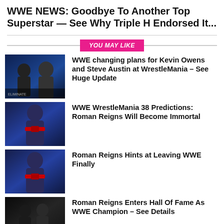WWE NEWS: Goodbye To Another Top Superstar — See Why Triple H Endorsed It...
YOU MAY LIKE
[Figure (photo): WWE superstars Kevin Owens and another wrestler on blue background]
WWE changing plans for Kevin Owens and Steve Austin at WrestleMania – See Huge Update
[Figure (photo): Roman Reigns with championship belt on blue background]
WWE WrestleMania 38 Predictions: Roman Reigns Will Become Immortal
[Figure (photo): Roman Reigns with championship belt on blue background]
Roman Reigns Hints at Leaving WWE Finally
[Figure (photo): Roman Reigns and another superstar in dark setting]
Roman Reigns Enters Hall Of Fame As WWE Champion – See Details